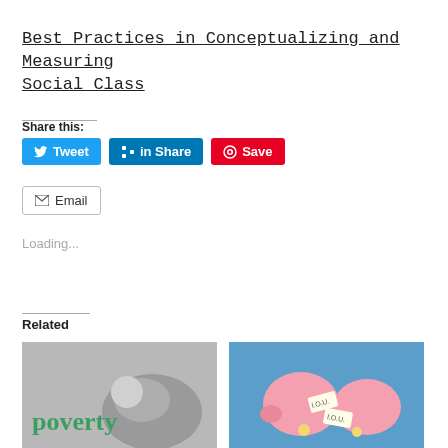Best Practices in Conceptualizing and Measuring Social Class
Share this:
[Figure (screenshot): Social media share buttons: Tweet (Twitter/blue), Share (LinkedIn/blue), Save (Pinterest/red), Email (grey outline)]
Loading...
Related
[Figure (photo): Grayscale photo of a hand holding a coin with the word 'poverty' written in green handwriting]
[Figure (photo): Photo of a broken pink piggy bank with an IOU note against a blue background]